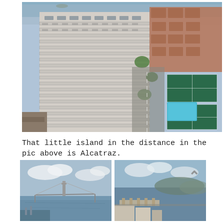[Figure (photo): Aerial view of a tall white residential apartment building with many floors and balconies on the left. To the right are lower brick residential buildings, a street, tennis courts, and a swimming pool. A small island (Alcatraz) is visible in the far distance.]
That little island in the distance in the pic above is Alcatraz.
[Figure (photo): View of a bay with a large suspension bridge (Bay Bridge) in the distance, blue water and cloudy sky.]
[Figure (photo): Aerial view of San Francisco waterfront and bay, showing piers, buildings, and hills in the distance. A chevron/up-arrow icon is overlaid on the photo.]